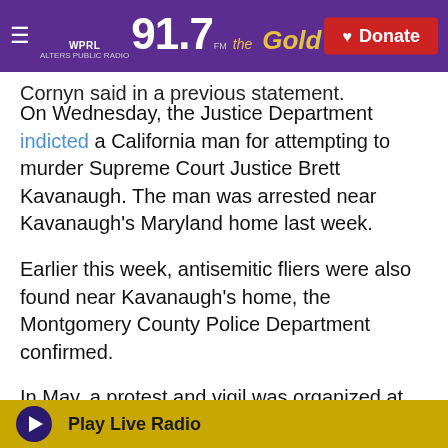WPRL 91.7 The Gold | Donate
Cornyn said in a previous statement.
On Wednesday, the Justice Department indicted a California man for attempting to murder Supreme Court Justice Brett Kavanaugh. The man was arrested near Kavanaugh's Maryland home last week.
Earlier this week, antisemitic fliers were also found near Kavanaugh's home, the Montgomery County Police Department confirmed.
In May, a protest and vigil was organized at Justice Samuel Alito's house following a leak of a draft Supreme Court opinion that, if unchanged, would
Play Live Radio